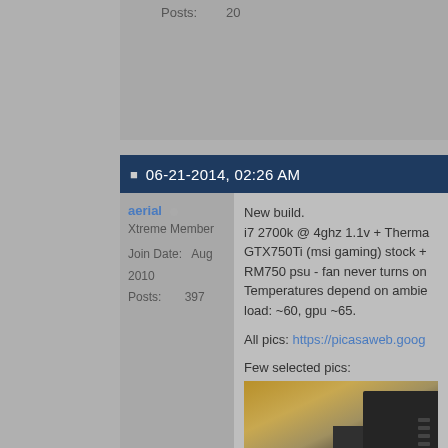Posts:   20
06-21-2014, 02:26 AM
aerial
Xtreme Member
Join Date:   Aug 2010
Posts:   397
New build.
i7 2700k @ 4ghz 1.1v + Therma
GTX750Ti (msi gaming) stock +
RM750 psu - fan never turns on
Temperatures depend on ambie
load: ~60, gpu ~65.

All pics: https://picasaweb.goog

Few selected pics:
[Figure (photo): Photo of computer hardware components including what appears to be a CPU cooler with fins/heatsink, dark colored, on a wooden surface with warm background.]